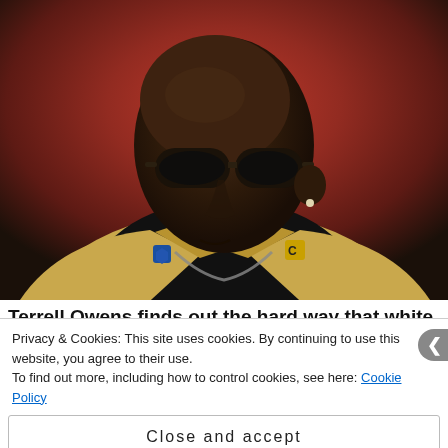[Figure (photo): Terrell Owens wearing sunglasses and a gold Hall of Fame jacket with a black shirt and chain necklace, standing at what appears to be an NFL stadium with a red blurred background.]
Terrell Owens finds out the hard way that white
Privacy & Cookies: This site uses cookies. By continuing to use this website, you agree to their use.
To find out more, including how to control cookies, see here: Cookie Policy
Close and accept